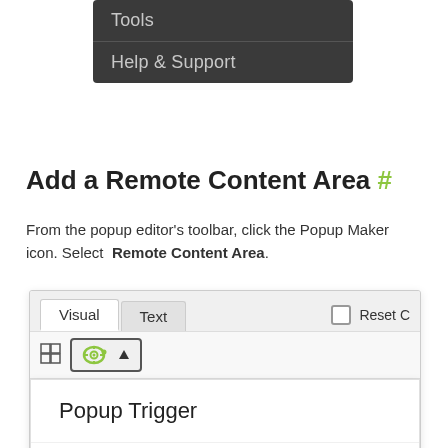[Figure (screenshot): Dark dropdown menu showing 'Tools' and 'Help & Support' menu items in a dark gray/charcoal background]
Add a Remote Content Area #
From the popup editor's toolbar, click the Popup Maker icon. Select  Remote Content Area.
[Figure (screenshot): WordPress/popup editor toolbar screenshot showing Visual and Text tabs, a Popup Maker icon button with dropdown menu listing: Popup Trigger, Popup Close Button, Popup Cookie]